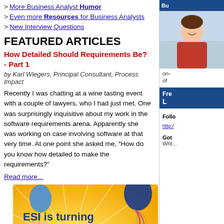> More Business Analyst Humor
> Even more Resources for Business Analysts
> New Interview Questions
FEATURED ARTICLES
How Detailed Should Requirements Be? - Part 1
by Karl Wiegers, Principal Consultant, Process Impact
Recently I was chatting at a wine tasting event with a couple of lawyers, who I had just met. One was surprisingly inquisitive about my work in the software requirements arena. Apparently she was working on case involving software at that very time. At one point she asked me, “How do you know how detailed to make the requirements?”
Read more...
[Figure (illustration): ESI is turning 30 advertisement banner with balloons. Text: ESI is turning 30! JOIN THE CELEBRATION. Take 30% OFF any course*. Register by November 30, 2011. Use Priority Code BIG 3-0]
[Figure (photo): Right sidebar with photo of a smiling woman in red jacket, on-of text, blue box with Free L... text, Follow section with http link, Got Writ... text]
on-
of
Follow
http:/
Got
Wri...